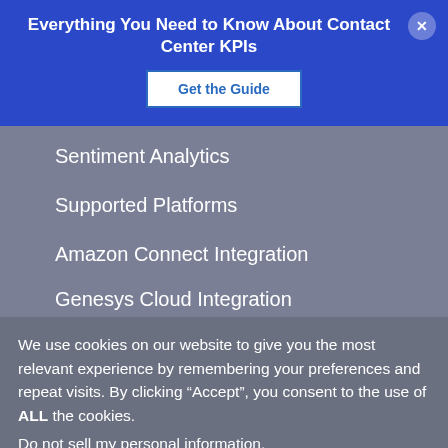Everything You Need to Know About Contact Center KPIs
Get the Guide
Sentiment Analytics
Supported Platforms
Amazon Connect Integration
Genesys Cloud Integration
We use cookies on our website to give you the most relevant experience by remembering your preferences and repeat visits. By clicking “Accept”, you consent to the use of ALL the cookies.
Do not sell my personal information.
Cookie Settings
Accept